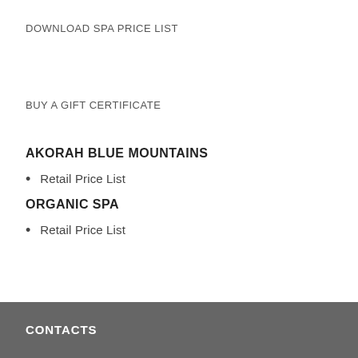DOWNLOAD SPA PRICE LIST
BUY A GIFT CERTIFICATE
AKORAH BLUE MOUNTAINS
Retail Price List
ORGANIC SPA
Retail Price List
CONTACTS